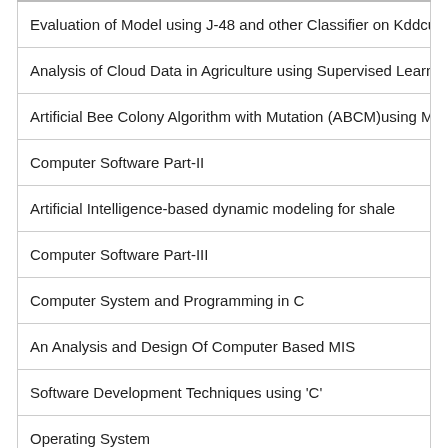| Evaluation of Model using J-48 and other Classifier on Kddcup 99 throu |
| Analysis of Cloud Data in Agriculture using Supervised Learning |
| Artificial Bee Colony Algorithm with Mutation (ABCM)using Modified Se |
| Computer Software Part-II |
| Artificial Intelligence-based dynamic modeling for shale |
| Computer Software Part-III |
| Computer System and Programming in C |
| An Analysis and Design Of Computer Based MIS |
| Software Development Techniques using 'C' |
| Operating System |